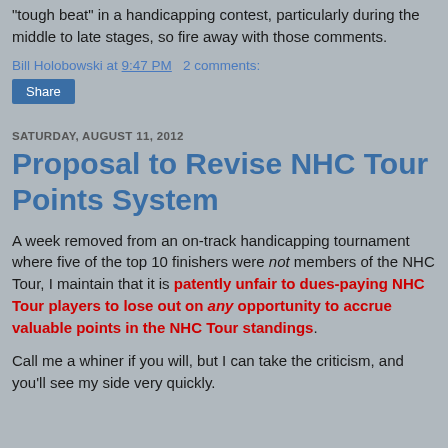"tough beat" in a handicapping contest, particularly during the middle to late stages, so fire away with those comments.
Bill Holobowski at 9:47 PM   2 comments:
Share
SATURDAY, AUGUST 11, 2012
Proposal to Revise NHC Tour Points System
A week removed from an on-track handicapping tournament where five of the top 10 finishers were not members of the NHC Tour, I maintain that it is patently unfair to dues-paying NHC Tour players to lose out on any opportunity to accrue valuable points in the NHC Tour standings.
Call me a whiner if you will, but I can take the criticism, and you'll see my side very quickly.